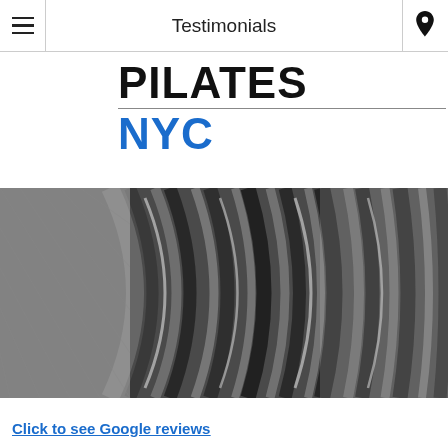Testimonials
PILATES NYC
[Figure (photo): Close-up photo of metallic ribbed cylindrical spring or coil surface, dark tones, shallow depth of field]
Click to see Google reviews